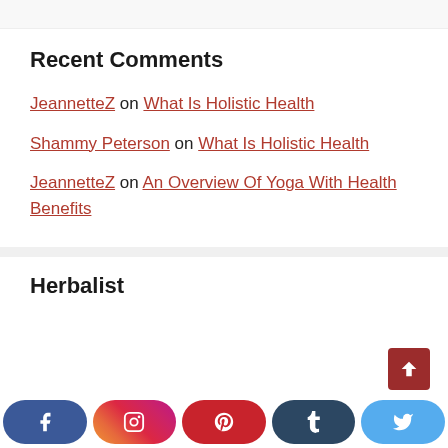Recent Comments
JeannetteZ on What Is Holistic Health
Shammy Peterson on What Is Holistic Health
JeannetteZ on An Overview Of Yoga With Health Benefits
Herbalist
[Figure (other): Social media share buttons: Facebook, Instagram, Pinterest, Tumblr, Twitter]